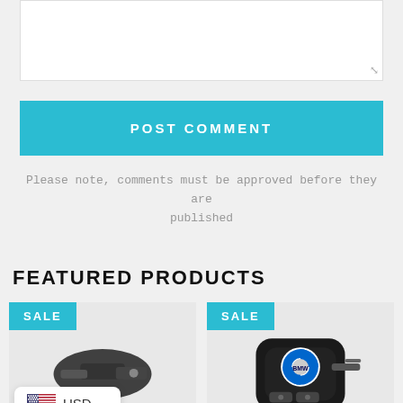[Figure (screenshot): Text area input box with resize handle at bottom right]
POST COMMENT
Please note, comments must be approved before they are published
FEATURED PRODUCTS
[Figure (photo): Product card with SALE badge and car key image on left]
[Figure (photo): Product card with SALE badge and BMW key fob image on right]
[Figure (other): Currency selector widget showing USD with US flag]